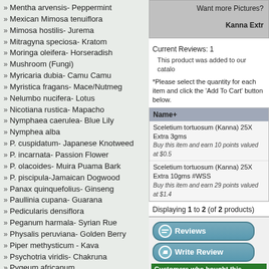» Mentha arvensis- Peppermint
» Mexican Mimosa tenuiflora
» Mimosa hostilis- Jurema
» Mitragyna speciosa- Kratom
» Moringa oleifera- Horseradish
» Mushroom (Fungi)
» Myricaria dubia- Camu Camu
» Myristica fragans- Mace/Nutmeg
» Nelumbo nucifera- Lotus
» Nicotiana rustica- Mapacho
» Nymphaea caerulea- Blue Lily
» Nymphea alba
» P. cuspidatum- Japanese Knotweed
» P. incarnata- Passion Flower
» P. olacoides- Muira Puama Bark
» P. piscipula-Jamaican Dogwood
» Panax quinquefolius- Ginseng
» Paullinia cupana- Guarana
» Pedicularis densiflora
» Peganum harmala- Syrian Rue
» Physalis peruviana- Golden Berry
» Piper methysticum - Kava
» Psychotria viridis- Chakruna
» Pygeum africanum
» Rehmannia Root
Want more Pictures?
Kanna Extr
Current Reviews: 1
This product was added to our catalo
*Please select the quantity for each item and click the 'Add To Cart' button below.
| Name+ |
| --- |
| Sceletium tortuosum (Kanna) 25X Extra 3gms
Buy this item and earn 10 points valued at $0.5 |
| Sceletium tortuosum (Kanna) 25X Extra 10gms #WSS
Buy this item and earn 29 points valued at $1.4 |
Displaying 1 to 2 (of 2 products)
Reviews
Write Review
Customers who bought this product
[Figure (photo): Two thumbnail photos of brown organic product (Kanna)]